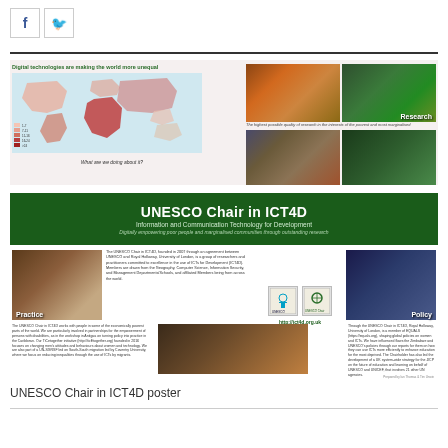[Figure (infographic): Social media sharing icons: Facebook (f) and Twitter (bird) icons in bordered boxes]
[Figure (infographic): UNESCO Chair in ICT4D poster showing world map of digital inequality, research photos, green banner with title 'UNESCO Chair in ICT4D - Information and Communication Technology for Development', practice and policy sections with photos and text]
UNESCO Chair in ICT4D poster